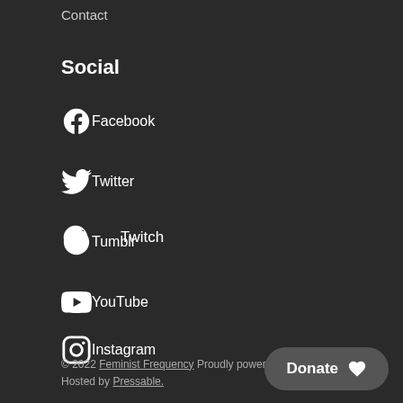Contact
Social
Facebook
Twitter
Tumblr
YouTube
Instagram
Twitch
© 2022 Feminist Frequency Proudly powered by Hosted by Pressable.
Donate